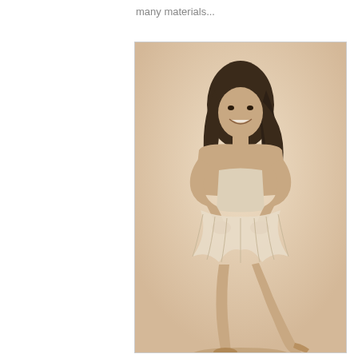many materials...
[Figure (photo): A sepia-toned photograph of a young woman dressed as a ballerina in a tutu, standing in a ballet pose with one leg raised, hands on hips, smiling at the camera. The image has a warm beige/cream background and appears to be a professional or artistic photograph.]